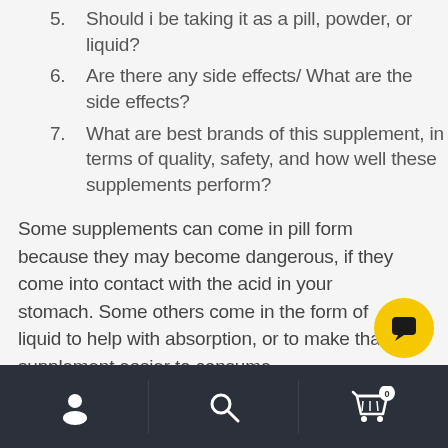5. Should i be taking it as a pill, powder, or liquid?
6. Are there any side effects/ What are the side effects?
7. What are best brands of this supplement, in terms of quality, safety, and how well these supplements perform?
Some supplements can come in pill form because they may become dangerous, if they come into contact with the acid in your stomach. Some others come in the form of liquid to help with absorption, or to make that supplement easier to consume.
[Figure (other): Yellow circular chat/messaging button with speech bubble icon]
[Figure (other): Dark bottom navigation bar with user profile icon, search icon, and shopping cart icon with badge showing 0]